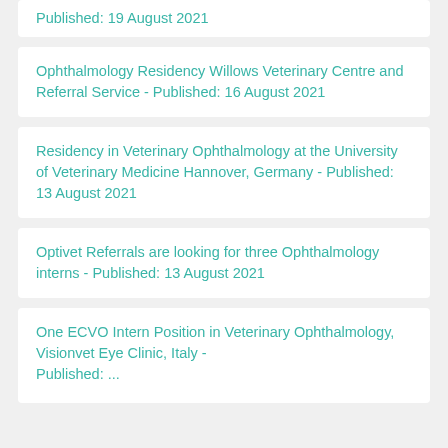Published: 19 August 2021
Ophthalmology Residency Willows Veterinary Centre and Referral Service  - Published: 16 August 2021
Residency in Veterinary Ophthalmology at the University of Veterinary Medicine Hannover, Germany  - Published: 13 August 2021
Optivet Referrals are looking for three Ophthalmology interns  - Published: 13 August 2021
One ECVO Intern Position in Veterinary Ophthalmology, Visionvet Eye Clinic, Italy  - Published: ...